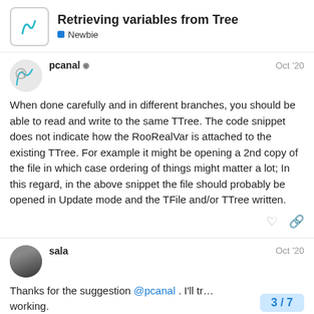Retrieving variables from Tree — Newbie
pcanal — Oct '20
When done carefully and in different branches, you should be able to read and write to the same TTree. The code snippet does not indicate how the RooRealVar is attached to the existing TTree. For example it might be opening a 2nd copy of the file in which case ordering of things might matter a lot; In this regard, in the above snippet the file should probably be opened in Update mode and the TFile and/or TTree written.
sala — Oct '20
Thanks for the suggestion @pcanal . I'll tr… working.
3 / 7